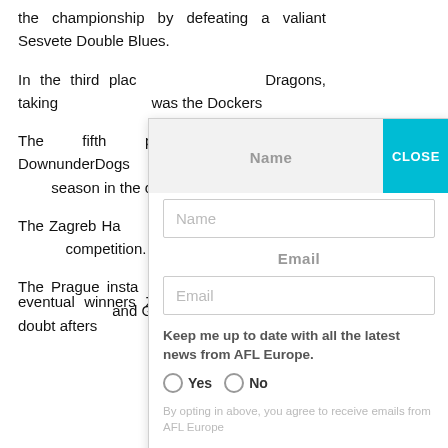the championship by defeating a valiant Sesvete Double Blues.
In the third plac... Dragons, taking ... was the Dockers...
The fifth place... DownunderDogs... were too good... season in the co...
The Zagreb Ha... weakened touri... competition.
The Prague insta... tournament of ... and Gratz it w... eventual winners Zagreb who put it beyond doubt afters...
[Figure (screenshot): Newsletter subscription modal dialog with Name and Email input fields, Yes/No radio buttons for AFL Europe news opt-in, opt-in disclaimer text, and a Subscribe button. A teal CLOSE button is in the top-right corner.]